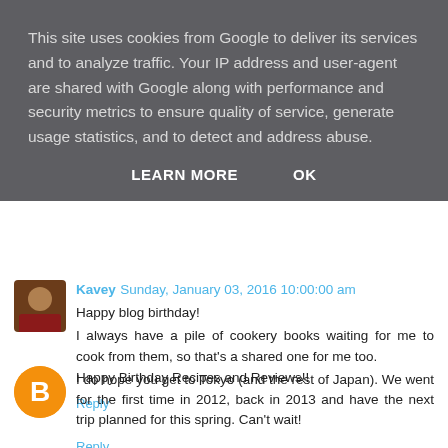This site uses cookies from Google to deliver its services and to analyze traffic. Your IP address and user-agent are shared with Google along with performance and security metrics to ensure quality of service, generate usage statistics, and to detect and address abuse.
LEARN MORE   OK
Happy Birthday Recipes and Reviews!!
Reply
Kavey  Sunday, January 03, 2016 10:00:00 am
Happy blog birthday!
I always have a pile of cookery books waiting for me to cook from them, so that's a shared one for me too.
I do hope you get to Tokyo (and the rest of Japan). We went for the first time in 2012, back in 2013 and have the next trip planned for this spring. Can't wait!
Reply